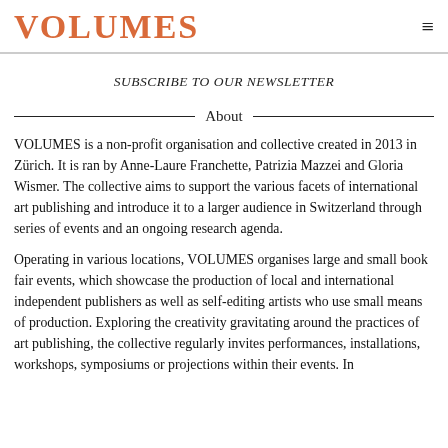VOLUMES
SUBSCRIBE TO OUR NEWSLETTER
About
VOLUMES is a non-profit organisation and collective created in 2013 in Zürich. It is ran by Anne-Laure Franchette, Patrizia Mazzei and Gloria Wismer. The collective aims to support the various facets of international art publishing and introduce it to a larger audience in Switzerland through series of events and an ongoing research agenda.
Operating in various locations, VOLUMES organises large and small book fair events, which showcase the production of local and international independent publishers as well as self-editing artists who use small means of production. Exploring the creativity gravitating around the practices of art publishing, the collective regularly invites performances, installations, workshops, symposiums or projections within their events. In